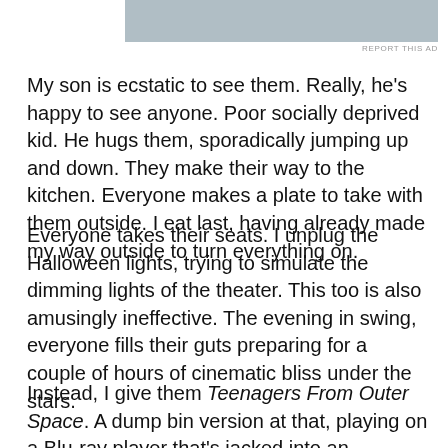[Figure (other): Gray advertisement banner at the top of the page]
REPORT THIS AD
My son is ecstatic to see them. Really, he's happy to see anyone. Poor socially deprived kid. He hugs them, sporadically jumping up and down. They make their way to the kitchen. Everyone makes a plate to take with them outside. I eat last, having already made my way outside to turn everything on.
Everyone takes their seats. I unplug the Halloween lights, trying to simulate the dimming lights of the theater. This too is also amusingly ineffective. The evening in swing, everyone fills their guts preparing for a couple of hours of cinematic bliss under the stars.
Instead, I give them Teenagers From Outer Space. A dump bin version at that, playing on a Blu-ray player that's jacked into an antiquated sound system and emanating from a projector incapable of HD. Welcome